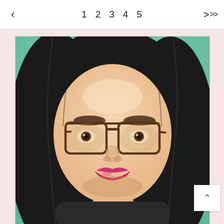< 1 2 3 4 5 > >>
[Figure (illustration): Painted portrait of a young woman with long dark hair, wearing large tortoiseshell glasses and bright magenta/pink lipstick, set against a teal/mint green painted background. The style is realistic oil or acrylic painting on canvas.]